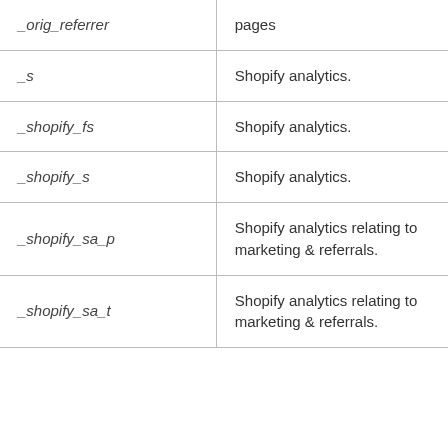| _orig_referrer | pages |
| _s | Shopify analytics. |
| _shopify_fs | Shopify analytics. |
| _shopify_s | Shopify analytics. |
| _shopify_sa_p | Shopify analytics relating to marketing & referrals. |
| _shopify_sa_t | Shopify analytics relating to marketing & referrals. |